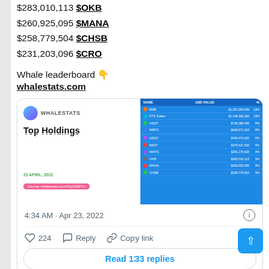$283,010,113 $OKB
$260,925,095 $MANA
$258,779,504 $CHSB
$231,203,096 $CRO
Whale leaderboard 👇 whalestats.com
[Figure (screenshot): WhaleStat Top Holdings screenshot showing a table of top crypto holdings with names and USD values, dated 23 April 2022]
4:34 AM · Apr 23, 2022
224   Reply   Copy link
Read 133 replies
Furthermore, with a number of developments at